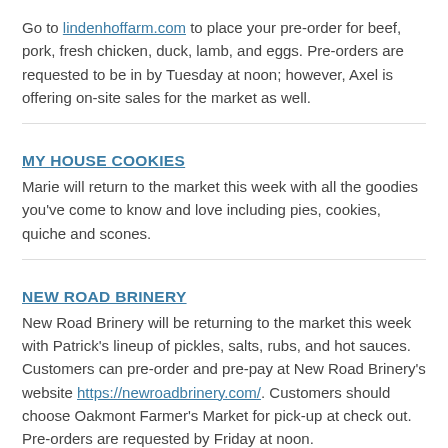Go to lindenhoffarm.com to place your pre-order for beef, pork, fresh chicken, duck, lamb, and eggs. Pre-orders are requested to be in by Tuesday at noon; however, Axel is offering on-site sales for the market as well.
MY HOUSE COOKIES
Marie will return to the market this week with all the goodies you've come to know and love including pies, cookies, quiche and scones.
NEW ROAD BRINERY
New Road Brinery will be returning to the market this week with Patrick's lineup of pickles, salts, rubs, and hot sauces. Customers can pre-order and pre-pay at New Road Brinery's website https://newroadbrinery.com/. Customers should choose Oakmont Farmer's Market for pick-up at check out. Pre-orders are requested by Friday at noon.